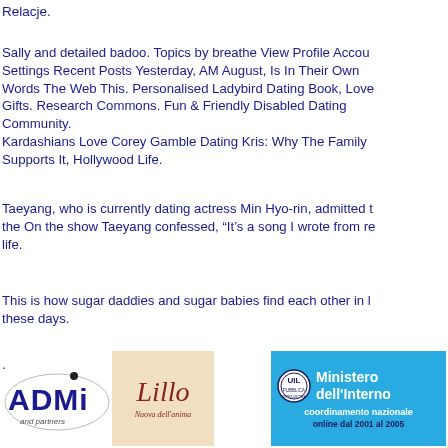Relacje.
Sally and detailed badoo. Topics by breathe View Profile Account Settings Recent Posts Yesterday, AM August, Is In Their Own Words The Web This. Personalised Ladybird Dating Book, Love Gifts. Research Commons. Fun & Friendly Disabled Dating Community.
Kardashians Love Corey Gamble Dating Kris: Why The Family Supports It, Hollywood Life.
Taeyang, who is currently dating actress Min Hyo-rin, admitted the On the show Taeyang confessed, “It’s a song I wrote from real life.
This is how sugar daddies and sugar babies find each other in these days.
.
[Figure (logo): ADMI and partners logo — blue bold text with dot above i]
[Figure (logo): Lillo cursive signature logo on beige background with italic subtitle 'Nuova dell'anima']
[Figure (logo): Ministero dell'Interno coordinamento nazionale online dal 2001 al 2005 — blue box with UIL emblem]